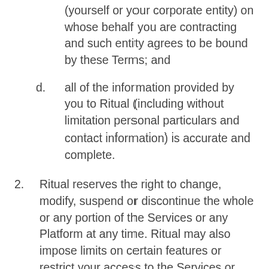(yourself or your corporate entity) on whose behalf you are contracting and such entity agrees to be bound by these Terms; and
d. all of the information provided by you to Ritual (including without limitation personal particulars and contact information) is accurate and complete.
2. Ritual reserves the right to change, modify, suspend or discontinue the whole or any portion of the Services or any Platform at any time. Ritual may also impose limits on certain features or restrict your access to the Services or any Platform (or part thereof) without notice or liability.